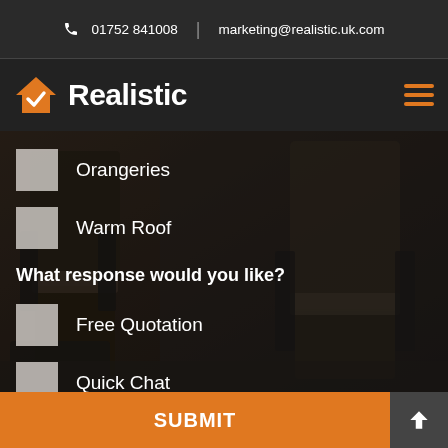📞 01752 841008 | marketing@realistic.uk.com
[Figure (logo): Realistic logo with orange house checkmark icon and white bold text 'Realistic']
Orangeries
Warm Roof
What response would you like?
Free Quotation
Quick Chat
Brochures
SUBMIT